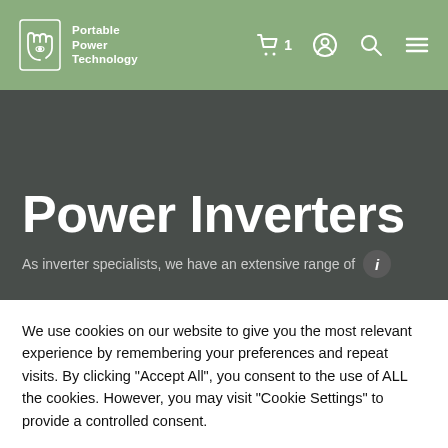Portable Power Technology – navigation bar with logo, cart (1 item), account, search, and menu icons
Power Inverters
As inverter specialists, we have an extensive range of
We use cookies on our website to give you the most relevant experience by remembering your preferences and repeat visits. By clicking "Accept All", you consent to the use of ALL the cookies. However, you may visit "Cookie Settings" to provide a controlled consent.
Cookie Settings
Accept All